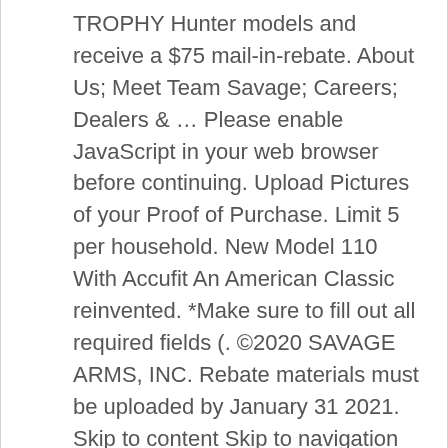TROPHY Hunter models and receive a $75 mail-in-rebate. About Us; Meet Team Savage; Careers; Dealers & … Please enable JavaScript in your web browser before continuing. Upload Pictures of your Proof of Purchase. Limit 5 per household. New Model 110 With Accufit An American Classic reinvented. *Make sure to fill out all required fields (. ©2020 SAVAGE ARMS, INC. Rebate materials must be uploaded by January 31 2021. Skip to content Skip to navigation menu. Savage Promotion Center . Print the confirmation page for your records. Subject to product availability; quantities limited. Savage Arms, Inc. peut modifier les conditions et la durée de cette offre en tout temps, sans avis. Les précommandes, les garanties-réclames ou les produits en livraison différée ne seront pas honorés. This website requires that JavaScript is enabled. Search Search. will be